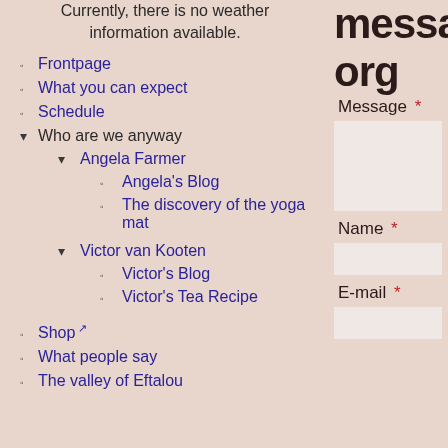Currently, there is no weather information available.
messa org
Frontpage
What you can expect
Schedule
Who are we anyway
Angela Farmer
Angela's Blog
The discovery of the yoga mat
Victor van Kooten
Victor's Blog
Victor's Tea Recipe
Shop
What people say
The valley of Eftalou
Message *
Name *
E-mail *